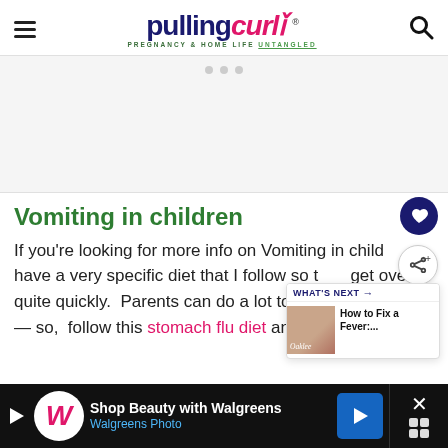pulling curls — PREGNANCY & HOME LIFE UNTANGLED
[Figure (other): Advertisement placeholder area, light gray with dots]
Vomiting in children
If you're looking for more info on Vomiting in children, I have a very specific diet that I follow so they get over it quite quickly.  Parents can do a lot to make this worse — so, follow this stomach flu diet and your little
[Figure (other): What's Next widget: How to Fix a Fever thumbnail with label]
[Figure (other): Walgreens advertisement: Shop Beauty with Walgreens / Walgreens Photo]